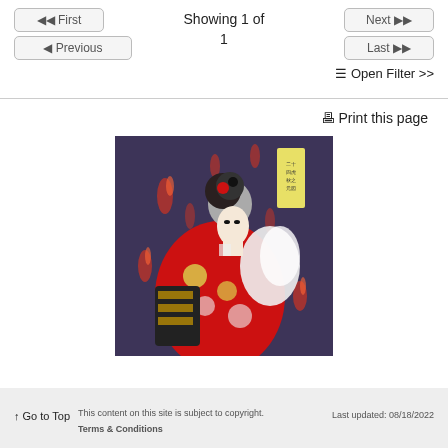◀◀ First   Showing 1 of 1   Next ▶▶   ◀ Previous   Last ▶▶   ≡ Open Filter >>
🖨 Print this page
[Figure (illustration): Japanese woodblock print showing a woman in a red kimono with floral patterns, holding a white feather fan, surrounded by flames against a dark purple background. Japanese text visible in upper right corner.]
↑ Go to Top   This content on this site is subject to copyright. Terms & Conditions   Last updated: 08/18/2022